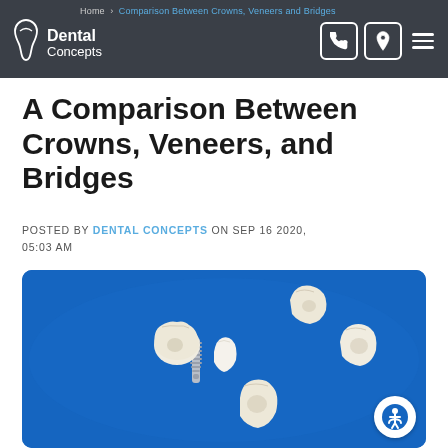Home > Dental Concepts > A Comparison Between Crowns, Veneers and Bridges
A Comparison Between Crowns, Veneers, and Bridges
POSTED BY DENTAL CONCEPTS ON SEP 16 2020, 05:03 AM
[Figure (photo): Dental crowns, veneers, and implant components laid out on a blue background — showing various tooth-shaped porcelain pieces and a metal implant screw.]